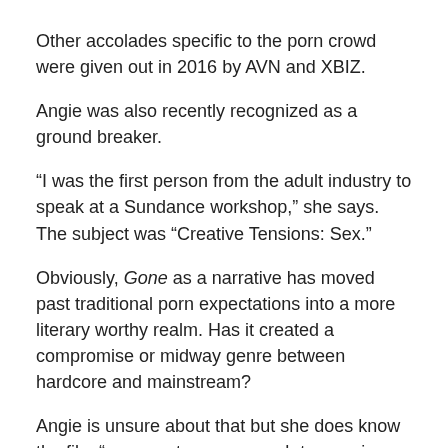Other accolades specific to the porn crowd were given out in 2016 by AVN and XBIZ.
Angie was also recently recognized as a ground breaker.
“I was the first person from the adult industry to speak at a Sundance workshop,” she says. The subject was “Creative Tensions: Sex.”
Obviously, Gone as a narrative has moved past traditional porn expectations into a more literary worthy realm. Has it created a compromise or midway genre between hardcore and mainstream?
Angie is unsure about that but she does know the film “represents an approach to merging a story with explicit sex [and] that’s a road much less traveled in porn.”